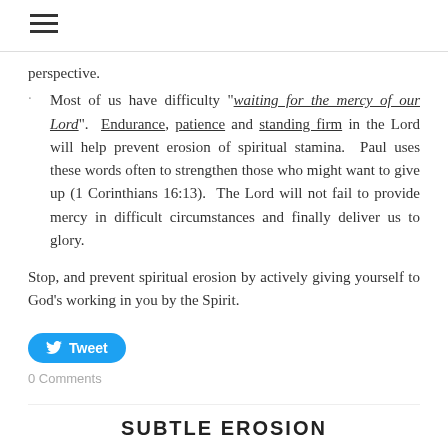≡
perspective.
Most of us have difficulty “waiting for the mercy of our Lord”. Endurance, patience and standing firm in the Lord will help prevent erosion of spiritual stamina. Paul uses these words often to strengthen those who might want to give up (1 Corinthians 16:13). The Lord will not fail to provide mercy in difficult circumstances and finally deliver us to glory.
Stop, and prevent spiritual erosion by actively giving yourself to God’s working in you by the Spirit.
[Figure (other): Tweet button]
0 Comments
SUBTLE EROSION
8/30/2017   0 Comments